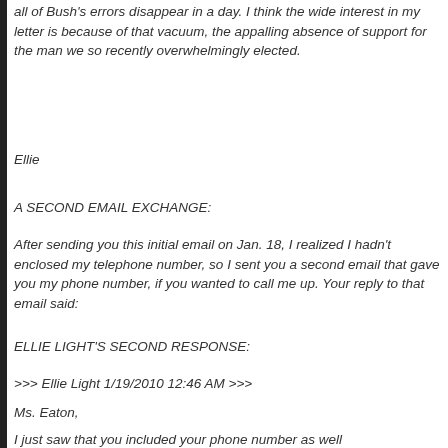all of Bush's errors disappear in a day. I think the wide interest in my letter is because of that vacuum, the appalling absence of support for the man we so recently overwhelmingly elected.
Ellie
A SECOND EMAIL EXCHANGE:
After sending you this initial email on Jan. 18, I realized I hadn't enclosed my telephone number, so I sent you a second email that gave you my phone number, if you wanted to call me up. Your reply to that email said:
ELLIE LIGHT'S SECOND RESPONSE:
>>> Ellie Light 1/19/2010 12:46 AM >>>
Ms. Eaton,
I just saw that you included your phone number as well